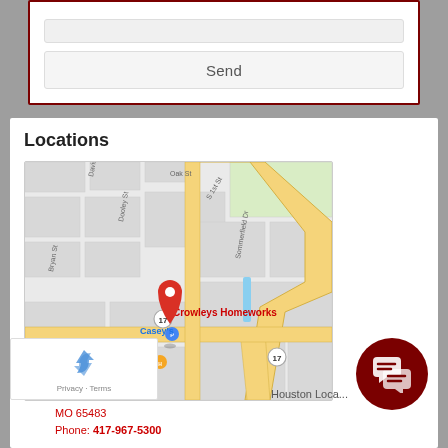Send
Locations
[Figure (map): Google Maps screenshot showing location of Crowleys Homeworks in Houston, MO with a red map pin marker. Nearby landmarks include Casey's, Taco Bell, and a hospital. Streets visible include Davis St, Oak St, Dooley St, Bryan St, S 1st St, Sommerfield Dr, and highway 17.]
Houston Loca...
am Houston Blvd
MO 65483
Phone: 417-967-5300